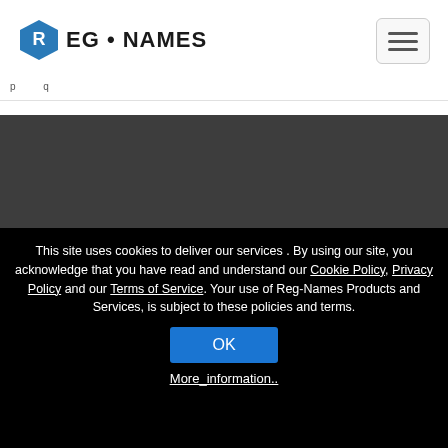REG • NAMES
Information
Contact Us
This site uses cookies to deliver our services . By using our site, you acknowledge that you have read and understand our Cookie Policy, Privacy Policy and our Terms of Service. Your use of Reg-Names Products and Services, is subject to these policies and terms.
OK
More_information..
FLD Names
Domain Name Prices